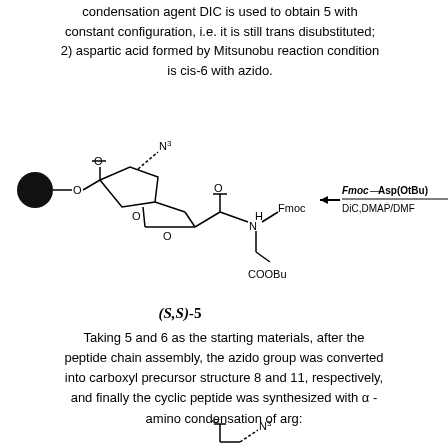condensation agent DIC is used to obtain 5 with constant configuration, i.e. it is still trans disubstituted; 2) aspartic acid formed by Mitsunobu reaction condition is cis-6 with azido.
[Figure (engineering-diagram): Chemical structure diagram of (S,S)-5 compound showing a solid-phase resin bead connected via ester linkage to a bicyclic furanose ring with azido group, an ester-linked Fmoc-protected aspartic acid (with OtBu ester), and an arrow pointing left labeled Fmoc-Asp(OtBu) over DIC,DMAP/DMF]
(S,S)-5
Taking 5 and 6 as the starting materials, after the peptide chain assembly, the azido group was converted into carboxyl precursor structure 8 and 11, respectively, and finally the cyclic peptide was synthesized with α-amino condensation of arg:
[Figure (engineering-diagram): Partial chemical structure at bottom of page showing a carbonyl group and azido group (N3) — beginning of another compound diagram]